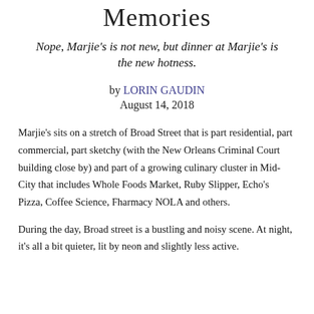Memories
Nope, Marjie's is not new, but dinner at Marjie's is the new hotness.
by LORIN GAUDIN
August 14, 2018
Marjie's sits on a stretch of Broad Street that is part residential, part commercial, part sketchy (with the New Orleans Criminal Court building close by) and part of a growing culinary cluster in Mid-City that includes Whole Foods Market, Ruby Slipper, Echo's Pizza, Coffee Science, Fharmacy NOLA and others.
During the day, Broad street is a bustling and noisy scene. At night, it's all a bit quieter, lit by neon and slightly less active.